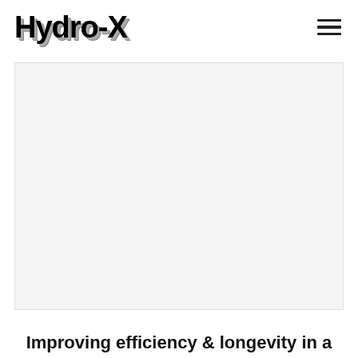Hydro-X
[Figure (photo): Large white/blank hero image area below the navigation header]
Improving efficiency & longevity in a